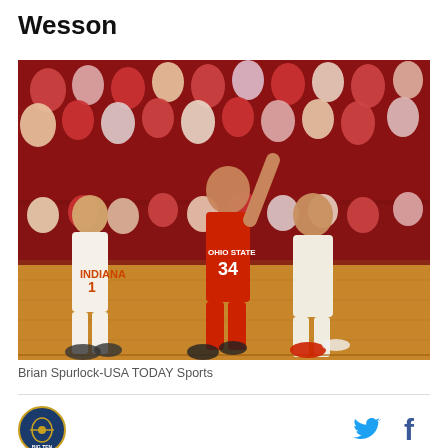Wesson
[Figure (photo): Basketball game photo: Ohio State player #34 in red uniform driving against an Indiana defender in white, with Indiana player #1 visible on the left and crowd in background.]
Brian Spurlock-USA TODAY Sports
[Figure (logo): Circular blue and gold sports logo]
[Figure (other): Twitter bird icon (blue) and Facebook f icon (dark)]